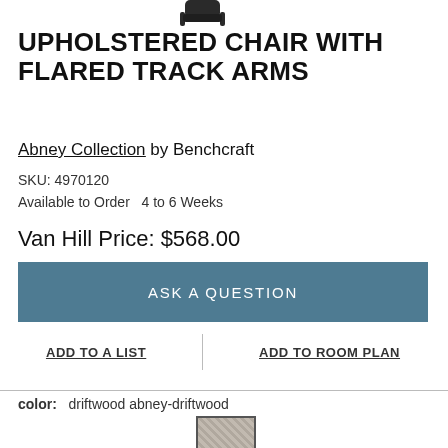[Figure (illustration): Dark silhouette/thumbnail of upholstered chair visible at top of page]
UPHOLSTERED CHAIR WITH FLARED TRACK ARMS
Abney Collection by Benchcraft
SKU: 4970120
Available to Order  4 to 6 Weeks
Van Hill Price: $568.00
ASK A QUESTION
ADD TO A LIST
ADD TO ROOM PLAN
color:  driftwood abney-driftwood
[Figure (illustration): Fabric swatch showing driftwood color texture]